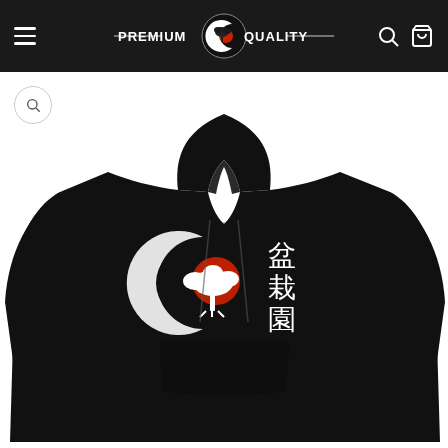Premium Quality – navigation bar with logo, hamburger menu, search and cart icons
[Figure (photo): Black hoodie sweatshirt product photo featuring a bonsai tree design with Japanese kanji characters (盆栽園) and a crescent moon / red sun motif on the front chest, displayed on a white background.]